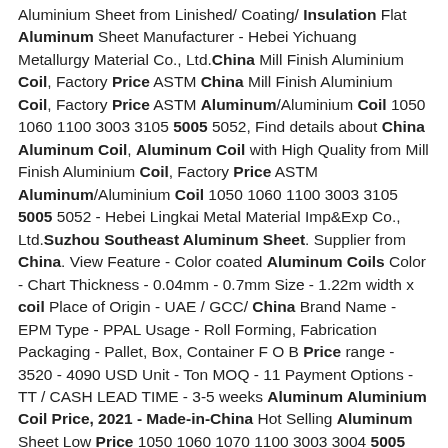Aluminium Sheet from Linished/ Coating/ Insulation Flat Aluminum Sheet Manufacturer - Hebei Yichuang Metallurgy Material Co., Ltd.China Mill Finish Aluminium Coil, Factory Price ASTM China Mill Finish Aluminium Coil, Factory Price ASTM Aluminum/Aluminium Coil 1050 1060 1100 3003 3105 5005 5052, Find details about China Aluminum Coil, Aluminum Coil with High Quality from Mill Finish Aluminium Coil, Factory Price ASTM Aluminum/Aluminium Coil 1050 1060 1100 3003 3105 5005 5052 - Hebei Lingkai Metal Material Imp&Exp Co., Ltd.Suzhou Southeast Aluminum Sheet. Supplier from China. View Feature - Color coated Aluminum Coils Color - Chart Thickness - 0.04mm - 0.7mm Size - 1.22m width x coil Place of Origin - UAE / GCC/ China Brand Name - EPM Type - PPAL Usage - Roll Forming, Fabrication Packaging - Pallet, Box, Container F O B Price range - 3520 - 4090 USD Unit - Ton MOQ - 11 Payment Options - TT / CASH LEAD TIME - 3-5 weeks Aluminum Aluminium Coil Price, 2021 - Made-in-China Hot Selling Aluminum Sheet Low Price 1050 1060 1070 1100 3003 3004 5005 5052 5083 7075 8011 Aluminium Coil Price Per Kg FOB Price: US $ 1200-1300 / Ton Min. Order: 1 TonAluminum Coil Price - Made-in-China You can easily wholesale quality aluminum coil at wholesale prices on Made-in-China. Hot Selling Aluminum Sheet Low Price 1050 1060 1070 1100 3003 3004